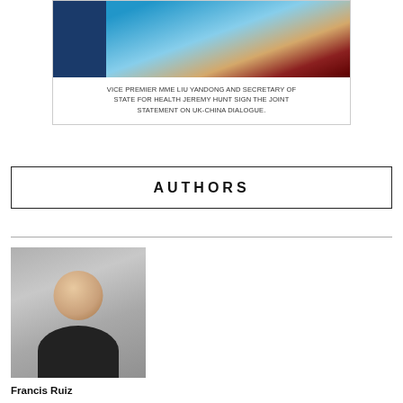[Figure (photo): Photo of Vice Premier Mme Liu Yandong and Secretary of State for Health Jeremy Hunt shaking hands and signing the Joint Statement on UK-China Dialogue, with flags in the background]
VICE PREMIER MME LIU YANDONG AND SECRETARY OF STATE FOR HEALTH JEREMY HUNT SIGN THE JOINT STATEMENT ON UK-CHINA DIALOGUE.
AUTHORS
[Figure (photo): Portrait photo of Francis Ruiz, a man in a dark jacket, smiling, with a grey background]
Francis Ruiz